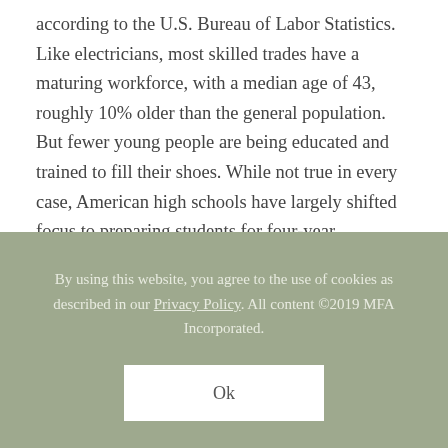according to the U.S. Bureau of Labor Statistics.
Like electricians, most skilled trades have a maturing workforce, with a median age of 43, roughly 10% older than the general population. But fewer young people are being educated and trained to fill their shoes. While not true in every case, American high schools have largely shifted focus to preparing students for four-year
By using this website, you agree to the use of cookies as described in our Privacy Policy. All content ©2019 MFA Incorporated.